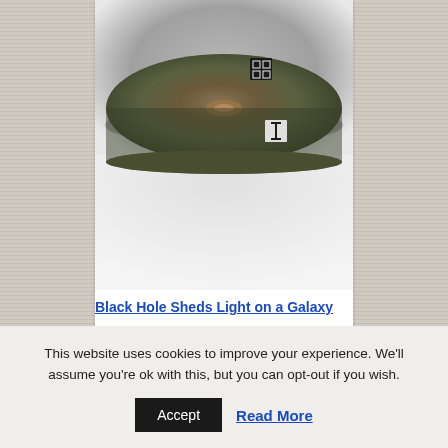[Figure (photo): A disc-shaped object resembling a galaxy or wood cross-section viewed from above, with concentric ring patterns, greenish-brown color, against a gradient background. Cursor icons are visible on the image.]
Black Hole Sheds Light on a Galaxy
This website uses cookies to improve your experience. We'll assume you're ok with this, but you can opt-out if you wish.